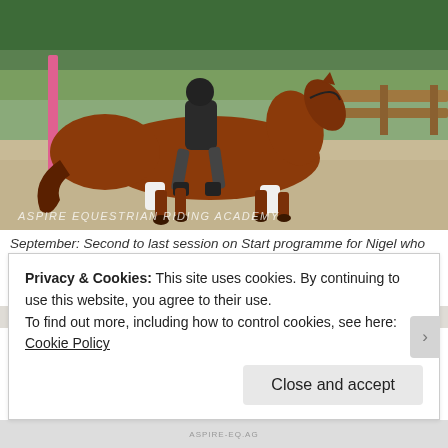[Figure (photo): A chestnut horse with white leg wraps being ridden in an outdoor sand arena, with wooden fencing and green trees in background. Watermark reads ASPIRE EQUESTRIAN RIDING ACADEMY.]
September: Second to last session on Start programme for Nigel who decided riding is rather fun and will be moving on to a progressive introduction to Foundation programme! I'm delighted with Nigel's progress today 🙂
Privacy & Cookies: This site uses cookies. By continuing to use this website, you agree to their use.
To find out more, including how to control cookies, see here: Cookie Policy

Close and accept